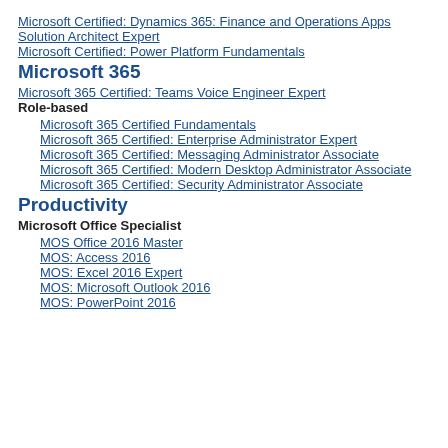Microsoft Certified: Dynamics 365: Finance and Operations Apps Solution Architect Expert
Microsoft Certified: Power Platform Fundamentals
Microsoft 365
Microsoft 365 Certified: Teams Voice Engineer Expert
Role-based
Microsoft 365 Certified Fundamentals
Microsoft 365 Certified: Enterprise Administrator Expert
Microsoft 365 Certified: Messaging Administrator Associate
Microsoft 365 Certified: Modern Desktop Administrator Associate
Microsoft 365 Certified: Security Administrator Associate
Productivity
Microsoft Office Specialist
MOS Office 2016 Master
MOS: Access 2016
MOS: Excel 2016 Expert
MOS: Microsoft Outlook 2016
MOS: PowerPoint 2016